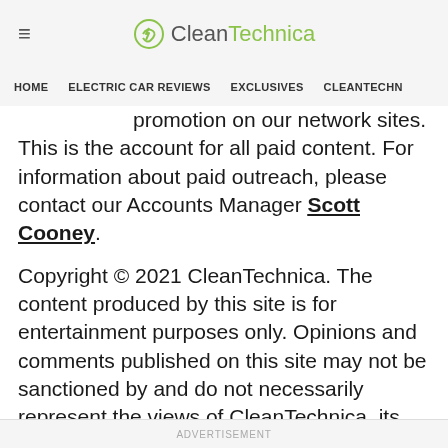≡  CleanTechnica
HOME  ELECTRIC CAR REVIEWS  EXCLUSIVES  CLEANTECHN
promotion on our network sites. This is the account for all paid content. For information about paid outreach, please contact our Accounts Manager Scott Cooney.
Copyright © 2021 CleanTechnica. The content produced by this site is for entertainment purposes only. Opinions and comments published on this site may not be sanctioned by and do not necessarily represent the views of CleanTechnica, its owners, sponsors, affiliates, or subsidiaries.
ADVERTISEMENT